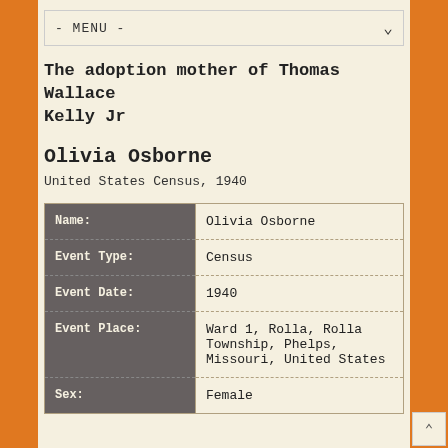- MENU -
The adoption mother of Thomas Wallace Kelly Jr
Olivia Osborne
United States Census, 1940
| Field | Value |
| --- | --- |
| Name: | Olivia Osborne |
| Event Type: | Census |
| Event Date: | 1940 |
| Event Place: | Ward 1, Rolla, Rolla Township, Phelps, Missouri, United States |
| Sex: | Female |